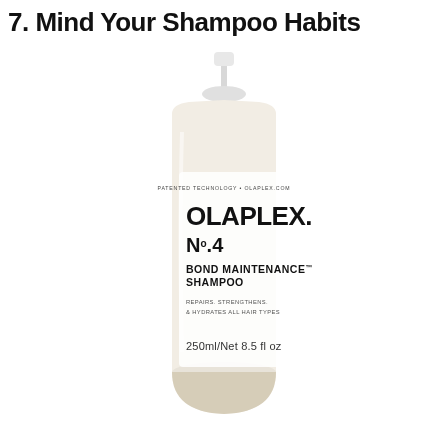7. Mind Your Shampoo Habits
[Figure (photo): Olaplex No.4 Bond Maintenance Shampoo bottle, 250ml/Net 8.5 fl oz, white/cream colored bottle with pump cap, label reads: PATENTED TECHNOLOGY • OLAPLEX.COM, OLAPLEX., No.4, BOND MAINTENANCE SHAMPOO, REPAIRS. STRENGTHENS. & HYDRATES ALL HAIR TYPES, 250ml/Net 8.5 fl oz]